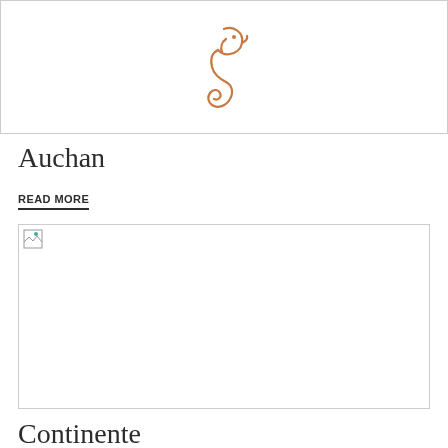[Figure (logo): Auchan seahorse logo in orange/copper color]
Auchan
READ MORE
[Figure (photo): Broken/missing image placeholder]
Continente